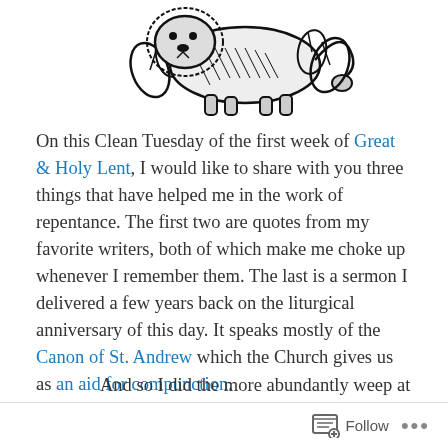[Figure (illustration): Black and white woodcut-style illustration of an animal (appears to be a lion or similar creature) with decorative foliage, partially cropped at top of page]
On this Clean Tuesday of the first week of Great & Holy Lent, I would like to share with you three things that have helped me in the work of repentance. The first two are quotes from my favorite writers, both of which make me choke up whenever I remember them. The last is a sermon I delivered a few years back on the liturgical anniversary of this day. It speaks mostly of the Canon of St. Andrew which the Church gives us as an aid for compunction.
And so I did the more abundantly weep at the singing of the hymns of Thy sweet-singing Church, formerly